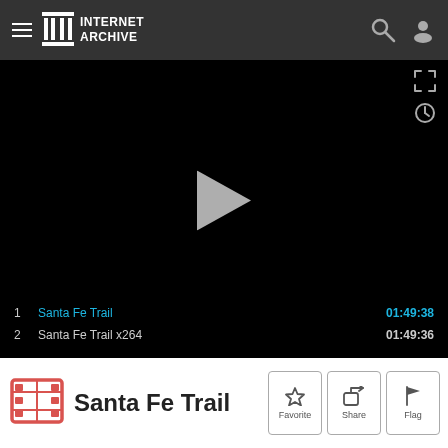Internet Archive
[Figure (screenshot): Video player area showing black screen with play button in center, fullscreen and clock icons top right, and playlist with two items: 1 Santa Fe Trail 01:49:38 (active/blue) and 2 Santa Fe Trail x264 01:49:36]
Santa Fe Trail
Favorite  Share  Flag